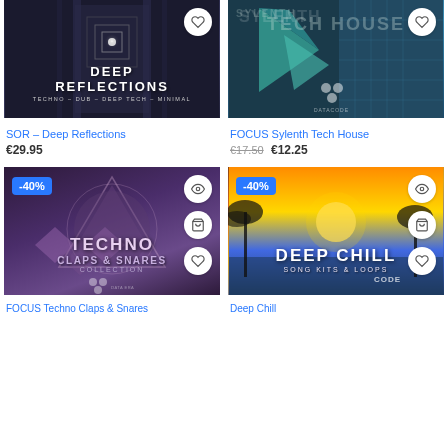[Figure (photo): Deep Reflections album art – dark tunnel with geometric squares, title text 'DEEP REFLECTIONS', subtitle 'TECHNO – DUB – DEEP TECH – MINIMAL']
[Figure (photo): FOCUS Sylenth Tech House album art – geometric teal/blue shapes with building grid, 'TECH HOUSE' text, Datacode logo]
SOR – Deep Reflections
€29.95
FOCUS Sylenth Tech House
€17.50  €12.25
[Figure (photo): FOCUS Techno Claps & Snares Collection album art – dark purple geometric triangle pattern, -40% badge, Datacode logo]
[Figure (photo): Deep Chill Song Kits & Loops album art – tropical sunset with palm trees, -40% badge, CODE logo]
FOCUS Techno Claps & Snares
Deep Chill